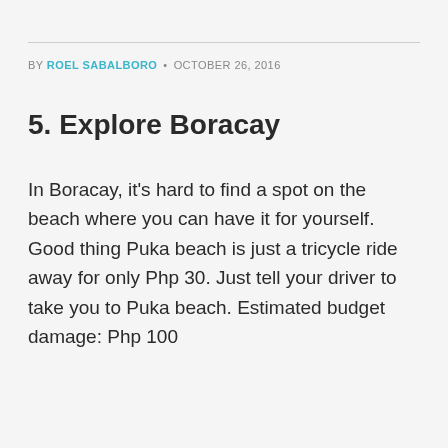BY ROEL SABALBORO · OCTOBER 26, 2016
5. Explore Boracay
In Boracay, it's hard to find a spot on the beach where you can have it for yourself. Good thing Puka beach is just a tricycle ride away for only Php 30. Just tell your driver to take you to Puka beach. Estimated budget damage: Php 100